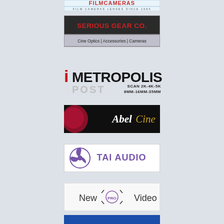[Figure (logo): Film Cameras Lenses Since 1994 logo at top]
[Figure (logo): Serious Gear Co - Cine Optics | Accessories | Cameras logo]
[Figure (logo): iMetropolis Post - Scan 2K-4K-5K, 8MM-16MM-35MM logo]
[Figure (logo): AbelCine logo with dark red circle on black background]
[Figure (logo): TAI AUDIO logo with three-blade propeller icon]
[Figure (logo): New Pro Video logo]
[Figure (logo): DMX-IT logo in blue]